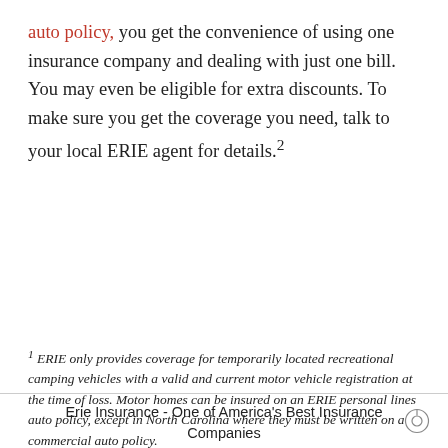auto policy, you get the convenience of using one insurance company and dealing with just one bill. You may even be eligible for extra discounts. To make sure you get the coverage you need, talk to your local ERIE agent for details.2
1 ERIE only provides coverage for temporarily located recreational camping vehicles with a valid and current motor vehicle registration at the time of loss. Motor homes can be insured on an ERIE personal lines auto policy, except in North Carolina where they must be written on a commercial auto policy.
Erie Insurance - One of America's Best Insurance Companies